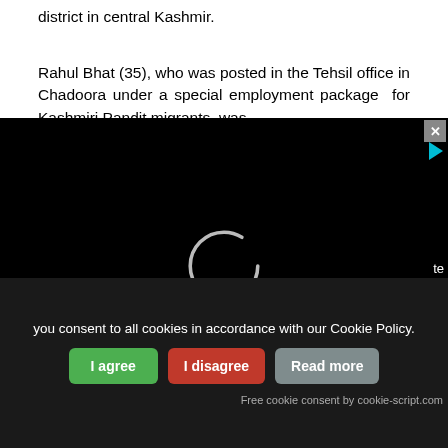district in central Kashmir.
Rahul Bhat (35), who was posted in the Tehsil office in Chadoora under a special employment package for Kashmiri Pandit migrants, was
[Figure (screenshot): Black video player overlay with loading spinner (white circle) in center and a cyan triangle play button in top right corner, with a close (x) button.]
te
you consent to all cookies in accordance with our Cookie Policy.
I agree   I disagree   Read more
Free cookie consent by cookie-script.com